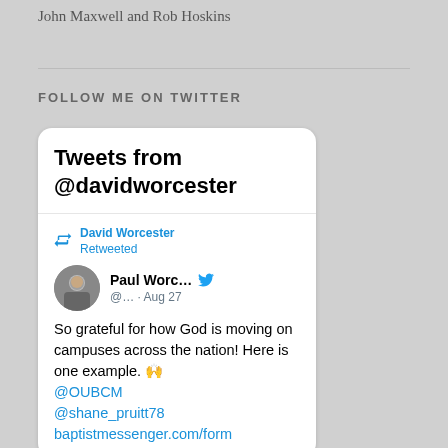John Maxwell and Rob Hoskins
FOLLOW ME ON TWITTER
[Figure (screenshot): Embedded Twitter widget showing tweets from @davidworcester. Shows a retweet by David Worcester of a tweet by Paul Worc... (@...) dated Aug 27, reading: 'So grateful for how God is moving on campuses across the nation! Here is one example. 🙌 @OUBCM @shane_pruitt78 baptistmessenger.com/form']